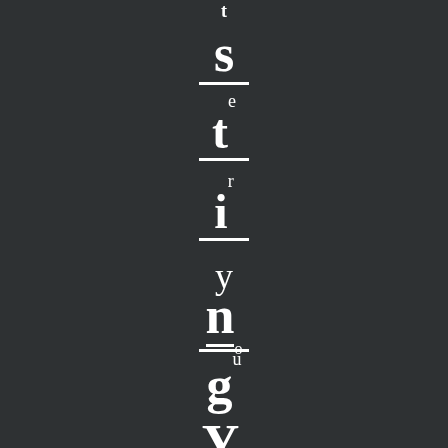[Figure (illustration): Vertical sequence of typographic characters on dark background: t, s with underline, t with underline and superscript e, i with underline and superscript r, y, n with underline and subscript o, g with superscript u, Y with underline and subscript c, Q]